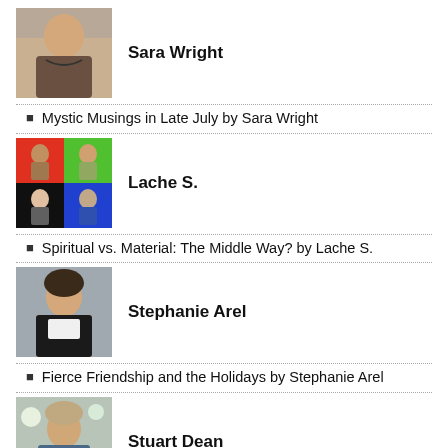[Figure (photo): Profile photo of Sara Wright]
Sara Wright
Mystic Musings in Late July by Sara Wright
[Figure (photo): Profile photo of Lache S. (pop-art style grid)]
Lache S.
Spiritual vs. Material: The Middle Way? by Lache S.
[Figure (photo): Profile photo of Stephanie Arel]
Stephanie Arel
Fierce Friendship and the Holidays by Stephanie Arel
[Figure (photo): Profile photo of Stuart Dean]
Stuart Dean
Plato's Diotima as a Symptom of Psychosis by Stuart Dean
[Figure (photo): Profile photo of Tallessyn Zawn Grenfell-Lee]
Tallessyn Zawn Grenfell-Lee
From the Archives: The Way We Are Created: Eco...